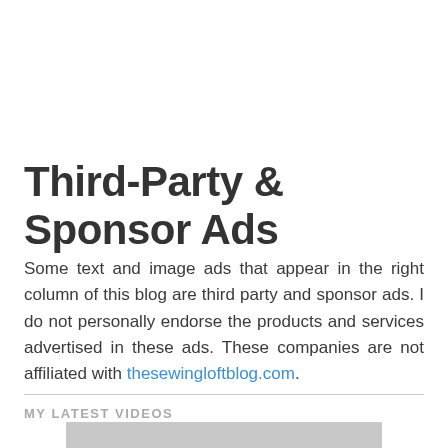Third-Party & Sponsor Ads
Some text and image ads that appear in the right column of this blog are third party and sponsor ads. I do not personally endorse the products and services advertised in these ads. These companies are not affiliated with thesewingloftblog.com.
MY LATEST VIDEOS